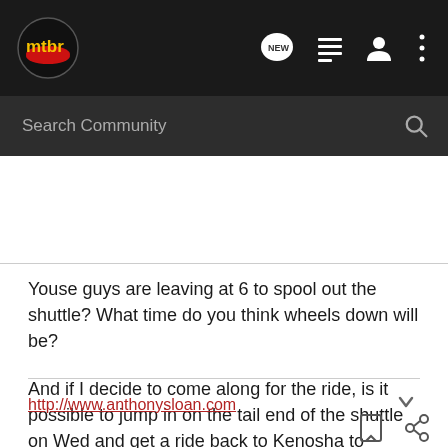[Figure (logo): mtbr logo — red and dark circle with yellow 'mtbr' text]
[Figure (screenshot): Navigation bar icons: NEW speech bubble, list icon, person icon, three dots menu]
[Figure (screenshot): Search Community bar with magnifying glass icon]
Youse guys are leaving at 6 to spool out the shuttle? What time do you think wheels down will be?

And if I decide to come along for the ride, is it possible to jump in on the tail end of the shuttle on Wed and get a ride back to Kenosha to reunite with my car?

And pace? Hammerfest or daisy sniffing. I'm a daisy sniffer.
http://www.anthonysloan.com